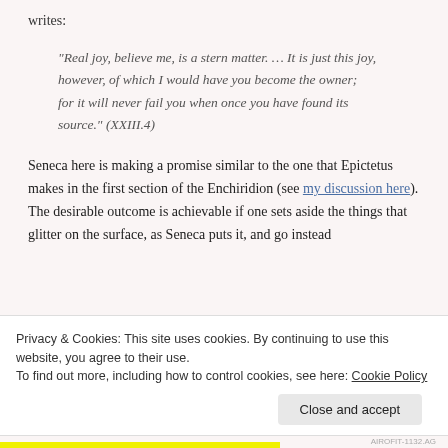writes:
"Real joy, believe me, is a stern matter. … It is just this joy, however, of which I would have you become the owner; for it will never fail you when once you have found its source." (XXIII.4)
Seneca here is making a promise similar to the one that Epictetus makes in the first section of the Enchiridion (see my discussion here). The desirable outcome is achievable if one sets aside the things that glitter on the surface, as Seneca puts it, and go instead
Privacy & Cookies: This site uses cookies. By continuing to use this website, you agree to their use.
To find out more, including how to control cookies, see here: Cookie Policy
Close and accept